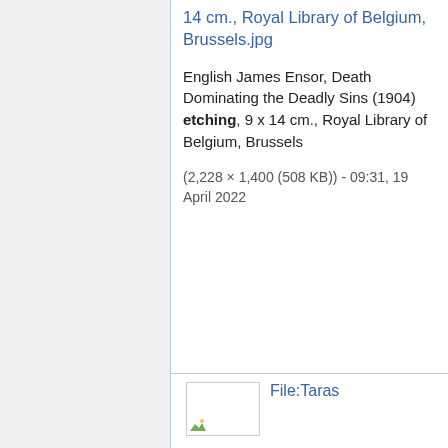14 cm., Royal Library of Belgium, Brussels.jpg
English James Ensor, Death Dominating the Deadly Sins (1904) etching, 9 x 14 cm., Royal Library of Belgium, Brussels (2,228 × 1,400 (508 KB)) - 09:31, 19 April 2022
File:Taras